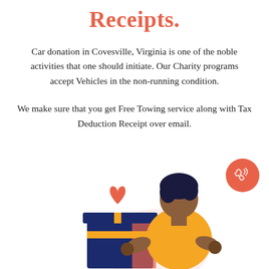Receipts.
Car donation in Covesville, Virginia is one of the noble activities that one should initiate. Our Charity programs accept Vehicles in the non-running condition.
We make sure that you get Free Towing service along with Tax Deduction Receipt over email.
[Figure (illustration): Illustration of a person holding a gift box with a heart shape on top, and a pink phone icon in the top right corner.]